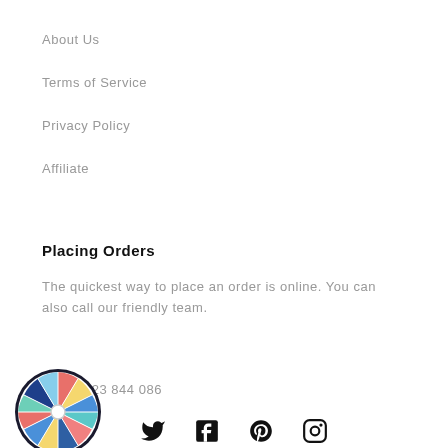About Us
Terms of Service
Privacy Policy
Affiliate
Placing Orders
The quickest way to place an order is online. You can also call our friendly team.
Tel: 01623 844 086
[Figure (other): Colorful spin wheel / prize wheel with multiple colored segments including blue, yellow, red, pink, teal, with a white center hub]
[Figure (other): Social media icons: Twitter bird, Facebook f, Pinterest P, Instagram camera]